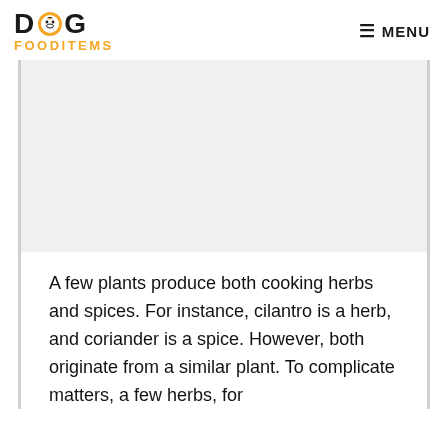DOG FOODITEMS — MENU
[Figure (other): Gray placeholder/image area within a bordered content box]
A few plants produce both cooking herbs and spices. For instance, cilantro is a herb, and coriander is a spice. However, both originate from a similar plant. To complicate matters, a few herbs, for